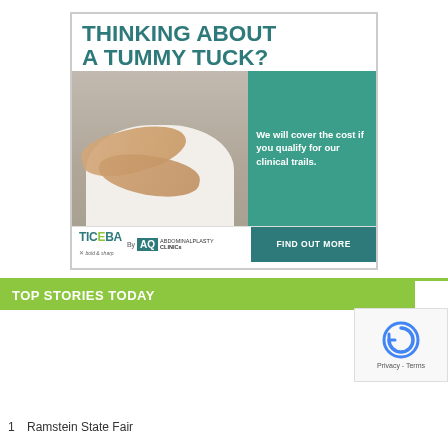[Figure (infographic): Advertisement for tummy tuck clinical trial. Large teal text reading 'THINKING ABOUT A TUMMY TUCK?' at top. Photo of person holding stomach in white shirt on left. Green box on right reads 'We will cover the cost if you qualify for our clinical trails.' Footer shows TICEBA and AQ Clinics logos on left and 'FIND OUT MORE' button on right.]
TOP STORIES TODAY
[Figure (other): reCAPTCHA widget with circular arrow icon and 'Privacy - Terms' text.]
1  Ramstein State Fair